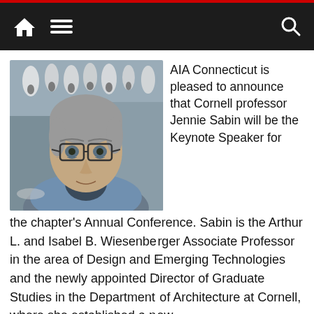Navigation bar with home, menu, and search icons
[Figure (photo): Headshot of Jennie Sabin, a woman with short gray hair and dark-rimmed glasses, wearing a blue blazer, photographed outdoors in front of a building with an architectural installation]
AIA Connecticut is pleased to announce that Cornell professor Jennie Sabin will be the Keynote Speaker for the chapter's Annual Conference. Sabin is the Arthur L. and Isabel B. Wiesenberger Associate Professor in the area of Design and Emerging Technologies and the newly appointed Director of Graduate Studies in the Department of Architecture at Cornell, where she established a new